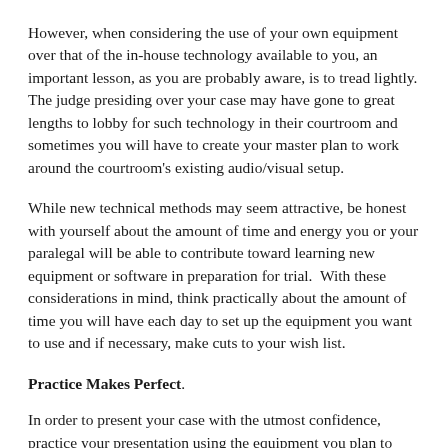However, when considering the use of your own equipment over that of the in-house technology available to you, an important lesson, as you are probably aware, is to tread lightly. The judge presiding over your case may have gone to great lengths to lobby for such technology in their courtroom and sometimes you will have to create your master plan to work around the courtroom's existing audio/visual setup.
While new technical methods may seem attractive, be honest with yourself about the amount of time and energy you or your paralegal will be able to contribute toward learning new equipment or software in preparation for trial.  With these considerations in mind, think practically about the amount of time you will have each day to set up the equipment you want to use and if necessary, make cuts to your wish list.
Practice Makes Perfect.
In order to present your case with the utmost confidence, practice your presentation using the equipment you plan to have at trial, calling up specific exhibits and familiarizing yourself with the intricacies of the software and hardware, if